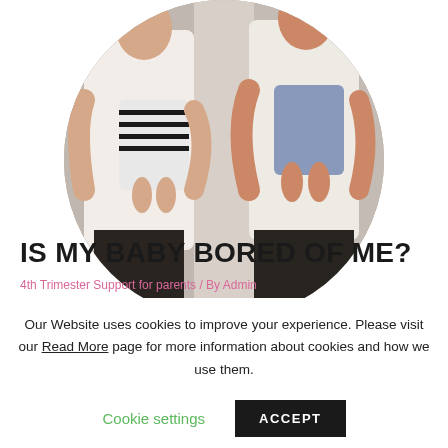[Figure (photo): Circular cropped photo showing two adults holding babies, wearing white tops, against a light background]
IS MY BABY BORED OF ME?
4th Trimester Support for parents / By Admin
Our Website uses cookies to improve your experience. Please visit our Read More page for more information about cookies and how we use them.
Cookie settings
ACCEPT